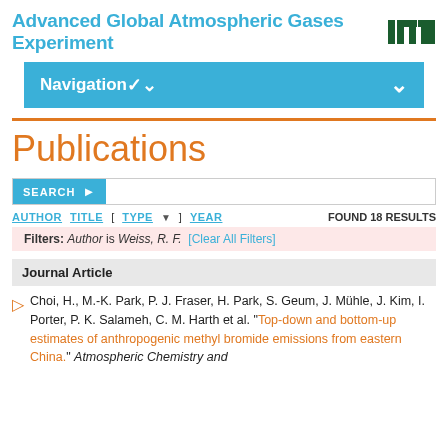Advanced Global Atmospheric Gases Experiment
[Figure (logo): MIT logo in dark green block letters]
Navigation
Publications
SEARCH
AUTHOR  TITLE  [ TYPE ] YEAR   FOUND 18 RESULTS
Filters: Author is Weiss, R. F.  [Clear All Filters]
Journal Article
Choi, H., M.-K. Park, P. J. Fraser, H. Park, S. Geum, J. Mühle, J. Kim, I. Porter, P. K. Salameh, C. M. Harth et al. "Top-down and bottom-up estimates of anthropogenic methyl bromide emissions from eastern China." Atmospheric Chemistry and